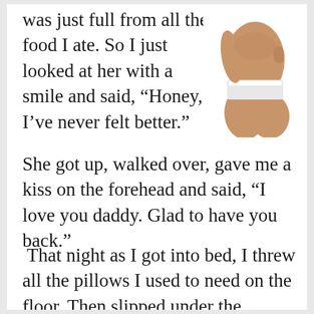was just full from all the food I ate. So I just looked at her with a smile and said, “Honey, I’ve never felt better.”
[Figure (photo): Cropped photo of a woman in white underwear, seated pose, showing torso and legs, with a tattoo visible on her side.]
She got up, walked over, gave me a kiss on the forehead and said, “I love you daddy. Glad to have you back.”
That night as I got into bed, I threw all the pillows I used to need on the floor. Then slipped under the covers, closed